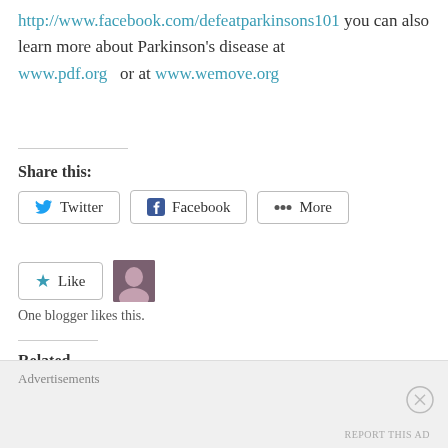http://www.facebook.com/defeatparkinsons101 you can also learn more about Parkinson's disease at www.pdf.org or at www.wemove.org
Share this:
Twitter   Facebook   More
Like   One blogger likes this.
Related
Health & Beauty Tip # 14: Art of Caregiving -II By Dr. De Leon
Instructions not Included When it Comes to Caregiving: By Dr. De
Advertisements